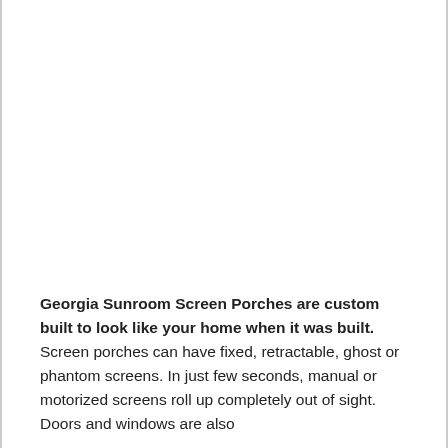Georgia Sunroom Screen Porches are custom built to look like your home when it was built. Screen porches can have fixed, retractable, ghost or phantom screens. In just few seconds, manual or motorized screens roll up completely out of sight. Doors and windows are also